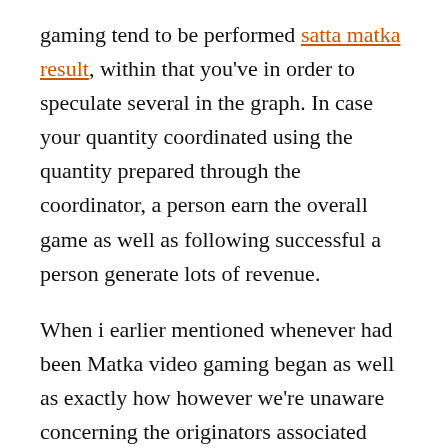gaming tend to be performed satta matka result, within that you've in order to speculate several in the graph. In case your quantity coordinated using the quantity prepared through the coordinator, a person earn the overall game as well as following successful a person generate lots of revenue.
When i earlier mentioned whenever had been Matka video gaming began as well as exactly how however we're unaware concerning the originators associated with Matka or even we are able to state Satta Matka Video gaming tend to be. Matka video gaming was began through the Kalyanji Bhagat as well as Ratan Khatri that accustomed to arrange the overall game